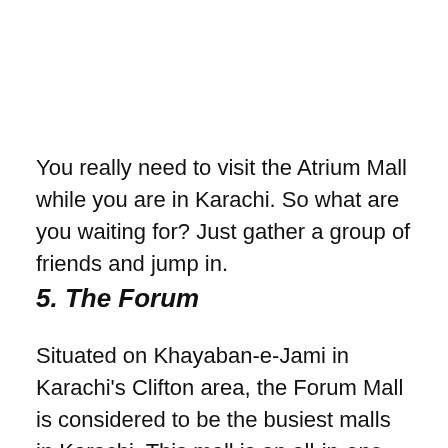You really need to visit the Atrium Mall while you are in Karachi. So what are you waiting for? Just gather a group of friends and jump in.
5. The Forum
Situated on Khayaban-e-Jami in Karachi's Clifton area, the Forum Mall is considered to be the busiest malls in Karachi. This mall is an all-in-one package. Whether you are shopping for your favourite clothing or associated things...